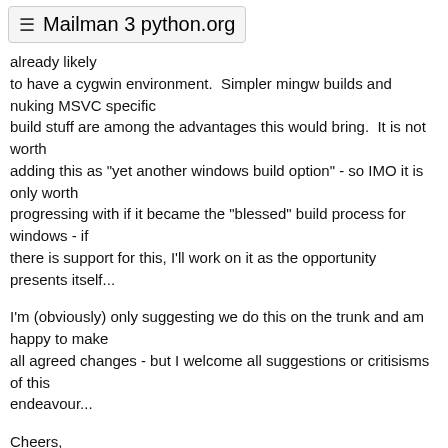≡ Mailman 3 python.org
already likely
to have a cygwin environment.  Simpler mingw builds and nuking MSVC specific
build stuff are among the advantages this would bring.  It is not worth
adding this as "yet another windows build option" - so IMO it is only worth
progressing with if it became the "blessed" build process for windows - if
there is support for this, I'll work on it as the opportunity presents itself...
I'm (obviously) only suggesting we do this on the trunk and am happy to make
all agreed changes - but I welcome all suggestions or critisisms of this
endeavour...
Cheers,
Mark